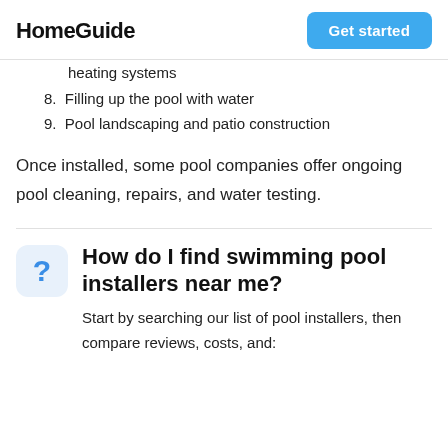HomeGuide  Get started
heating systems
8. Filling up the pool with water
9. Pool landscaping and patio construction
Once installed, some pool companies offer ongoing pool cleaning, repairs, and water testing.
How do I find swimming pool installers near me?
Start by searching our list of pool installers, then compare reviews, costs, and: